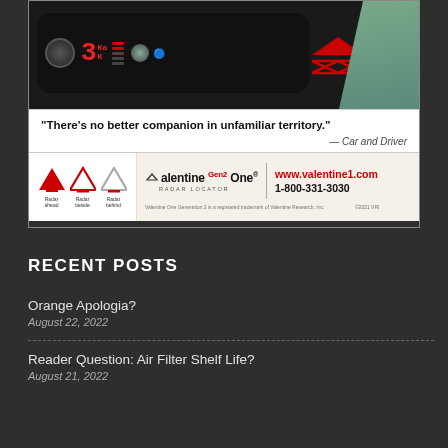[Figure (photo): Valentine One Gen2 Radar Locator advertisement showing the device with red display, quote from Car and Driver, arrow direction indicators, and contact information]
RECENT POSTS
Orange Apologia?
August 22, 2022
Reader Question: Air Filter Shelf Life?
August 21, 2022